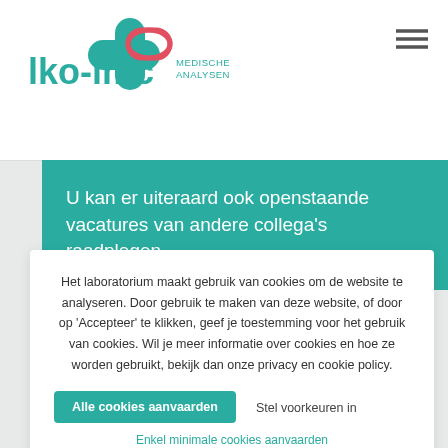[Figure (logo): lko-lmc Medische Analysen logo with teal and red cross/bandage icon]
U kan er uiteraard ook openstaande vacatures van andere collega's raadplegen.
Het laboratorium maakt gebruik van cookies om de website te analyseren. Door gebruik te maken van deze website, of door op 'Accepteer' te klikken, geef je toestemming voor het gebruik van cookies. Wil je meer informatie over cookies en hoe ze worden gebruikt, bekijk dan onze privacy en cookie policy.
Alle cookies aanvaarden
Stel voorkeuren in
Enkel minimale cookies aanvaarden